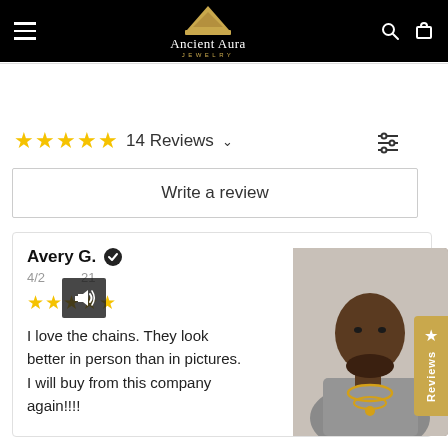Ancient Aura Jewelry - Navigation header
14 Reviews
Write a review
Avery G. (verified) 4/2/21 - 5 stars - I love the chains. They look better in person than in pictures. I will buy from this company again!!!!
[Figure (photo): Photo of reviewer Avery G. wearing gold chains, a Black man in a gray t-shirt with gold chains around his neck.]